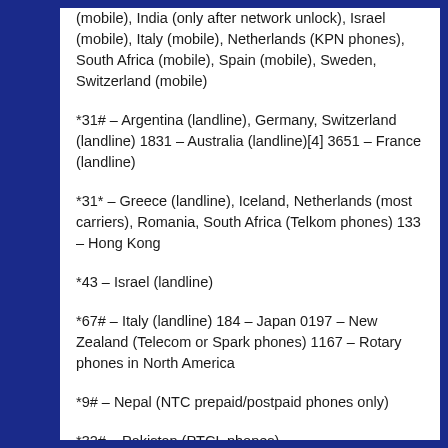(mobile), India (only after network unlock), Israel (mobile), Italy (mobile), Netherlands (KPN phones), South Africa (mobile), Spain (mobile), Sweden, Switzerland (mobile)
*31# – Argentina (landline), Germany, Switzerland (landline) 1831 – Australia (landline)[4] 3651 – France (landline)
*31* – Greece (landline), Iceland, Netherlands (most carriers), Romania, South Africa (Telkom phones) 133 – Hong Kong
*43 – Israel (landline)
*67# – Italy (landline) 184 – Japan 0197 – New Zealand (Telecom or Spark phones) 1167 – Rotary phones in North America
*9# – Nepal (NTC prepaid/postpaid phones only)
*32# – Pakistan (PTCL phones)